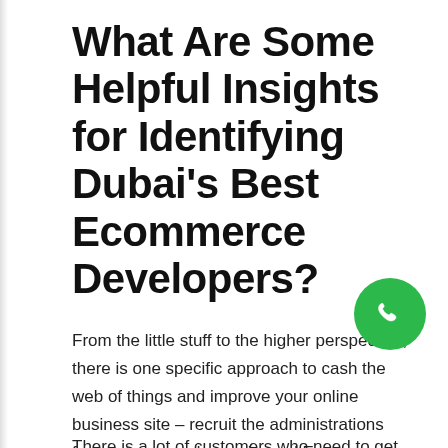What Are Some Helpful Insights for Identifying Dubai's Best Ecommerce Developers?
From the little stuff to the higher perspective, there is one specific approach to cash the web of things and improve your online business site – recruit the administrations from a trusted and experienced Ecommerce advancement organization.
There is a lot of customers who need to get on